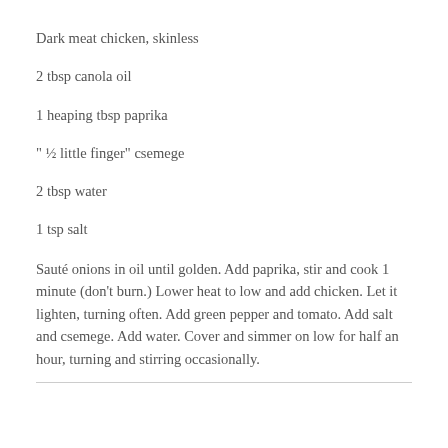Dark meat chicken, skinless
2 tbsp canola oil
1 heaping tbsp paprika
" ½ little finger" csemege
2 tbsp water
1 tsp salt
Sauté onions in oil until golden. Add paprika, stir and cook 1 minute (don't burn.) Lower heat to low and add chicken. Let it lighten, turning often. Add green pepper and tomato. Add salt and csemege. Add water. Cover and simmer on low for half an hour, turning and stirring occasionally.